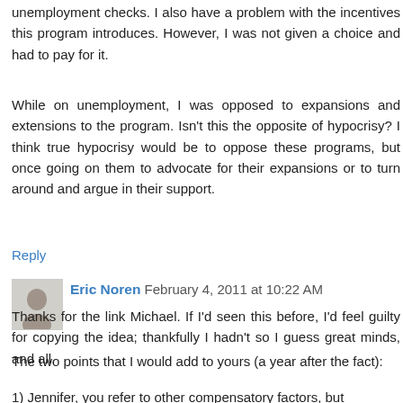unemployment checks. I also have a problem with the incentives this program introduces. However, I was not given a choice and had to pay for it.
While on unemployment, I was opposed to expansions and extensions to the program. Isn't this the opposite of hypocrisy? I think true hypocrisy would be to oppose these programs, but once going on them to advocate for their expansions or to turn around and argue in their support.
Reply
Eric Noren February 4, 2011 at 10:22 AM
Thanks for the link Michael. If I'd seen this before, I'd feel guilty for copying the idea; thankfully I hadn't so I guess great minds, and all.
The two points that I would add to yours (a year after the fact):
1)  Jennifer, you refer to other compensatory factors, but